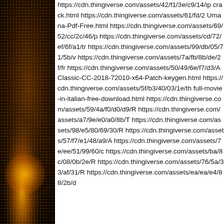[Figure (photo): Decorative image on the left side of the page, showing a dark background with orange/gold glowing light and a dotted pattern texture.]
https://cdn.thingiverse.com/assets/42/f1/3e/c9/14/ip crack.html https://cdn.thingiverse.com/assets/61/fd/2 Umana-Pdf-Free.html https://cdn.thingiverse.com/assets/69/52/cc/2c/46/p https://cdn.thingiverse.com/assets/cd/72/ef/6f/a1/tr https://cdn.thingiverse.com/assets/99/db/05/71/5b/v https://cdn.thingiverse.com/assets/7a/fb/8b/de/2f/fr https://cdn.thingiverse.com/assets/50/49/6e/f7/d3/A Classic-CC-2018-72010-x64-Patch-keygen.html https://cdn.thingiverse.com/assets/5f/b3/40/03/1e/th full-movie-in-italian-free-download.html https://cdn.thingiverse.com/assets/59/4a/f0/d0/d9/R https://cdn.thingiverse.com/assets/a7/9e/e0/a0/8b/T https://cdn.thingiverse.com/assets/98/e5/80/69/30/R https://cdn.thingiverse.com/assets/57/f7/e1/48/a9/A https://cdn.thingiverse.com/assets/7e/ee/51/99/60/c https://cdn.thingiverse.com/assets/ba/8c/08/0b/2e/R https://cdn.thingiverse.com/assets/76/5a/33/af/31/R https://cdn.thingiverse.com/assets/ea/ea/e4/88/2b/d